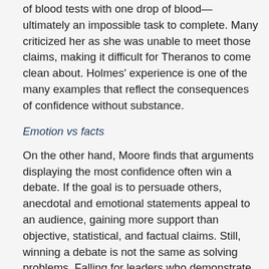of blood tests with one drop of blood—ultimately an impossible task to complete. Many criticized her as she was unable to meet those claims, making it difficult for Theranos to come clean about. Holmes' experience is one of the many examples that reflect the consequences of confidence without substance.
Emotion vs facts
On the other hand, Moore finds that arguments displaying the most confidence often win a debate. If the goal is to persuade others, anecdotal and emotional statements appeal to an audience, gaining more support than objective, statistical, and factual claims. Still, winning a debate is not the same as solving problems. Falling for leaders who demonstrate a persuasive character without substance can be detrimental for the future.
If confidence can mask the incompetence and deceptions of leaders, how can we know who to support and who to